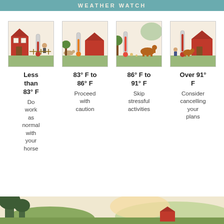WEATHER WATCH
[Figure (illustration): Farm scene with red barn and thermometer, cool temperature]
[Figure (illustration): Farm scene with thermometer at 83-86°F]
[Figure (illustration): Farm scene with horse and thermometer at 86-91°F]
[Figure (illustration): Farm scene with horse, person and thermometer over 91°F]
Less than 83° F
Do work as normal with your horse
83° F to 86° F
Proceed with caution
86° F to 91° F
Skip stressful activities
Over 91° F
Consider cancelling your plans
[Figure (illustration): Landscape scene at bottom of page with trees and farm in background]